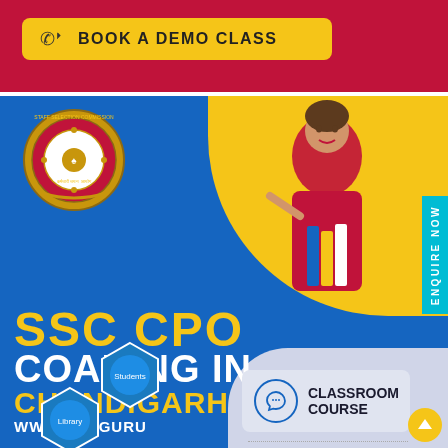[Figure (infographic): Red top bar with yellow 'BOOK A DEMO CLASS' button featuring phone icon]
BOOK A DEMO CLASS
[Figure (infographic): SSC CPO Coaching in Chandigarh advertisement banner with blue background, SSC emblem/logo, student photo, yellow text, classroom course badge, hexagonal student photos, and ENQUIRE NOW tab]
SSC CPO
COAHING IN
CHANDIGARH
WWW.CGI.GURU
CLASSROOM COURSE
ENQUIRE NOW